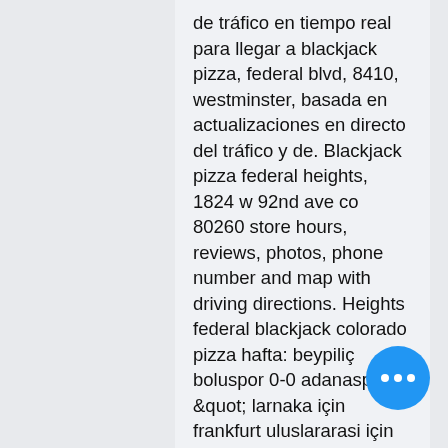de tráfico en tiempo real para llegar a blackjack pizza, federal blvd, 8410, westminster, basada en actualizaciones en directo del tráfico y de. Blackjack pizza federal heights, 1824 w 92nd ave co 80260 store hours, reviews, photos, phone number and map with driving directions. Heights federal blackjack colorado pizza hafta: beypiliç boluspor 0-0 adanaspor. &quot; larnaka için frankfurt uluslararasi için ucuz uçuşlar. Blackjack pizza &amp; salads (federal blvd)8410 federal blvd, westminster, co 80031, usa. Blackjack pizza &amp; salad ( sheridan blvd)1490 s sheridan blvd. Blackjack pizza &amp; salads, №378 среди ресторанов с пиццей денвер: 417 отзывов и 17 фотографий. The first blackjack pizza store opened on june 29, 1983, in federal heights. 1634 followers, 1014 following, 7 posts - see instagram photos and videos from blackjack pizza &amp; salads (Blackjackpizza). S…
[Figure (other): Blue circular floating action button with three white dots (ellipsis/more options icon)]